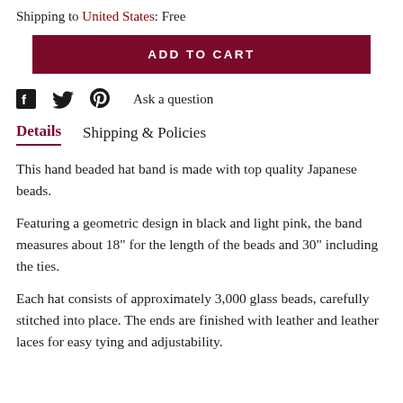Shipping to United States: Free
ADD TO CART
Ask a question
Details   Shipping & Policies
This hand beaded hat band is made with top quality Japanese beads.
Featuring a geometric design in black and light pink, the band measures about 18" for the length of the beads and 30" including the ties.
Each hat consists of approximately 3,000 glass beads, carefully stitched into place. The ends are finished with leather and leather laces for easy tying and adjustability.